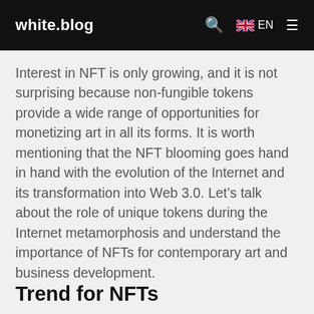white.blog  🔍  🇬🇧 EN  ☰
Interest in NFT is only growing, and it is not surprising because non-fungible tokens provide a wide range of opportunities for monetizing art in all its forms. It is worth mentioning that the NFT blooming goes hand in hand with the evolution of the Internet and its transformation into Web 3.0. Let's talk about the role of unique tokens during the Internet metamorphosis and understand the importance of NFTs for contemporary art and business development.
Trend for NFTs